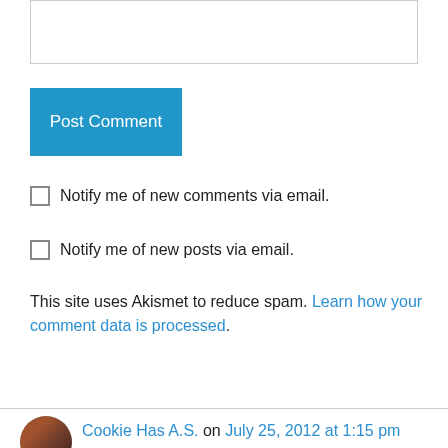[Figure (screenshot): Text input box (empty, with border)]
Post Comment
Notify me of new comments via email.
Notify me of new posts via email.
This site uses Akismet to reduce spam. Learn how your comment data is processed.
Cookie Has A.S. on July 25, 2012 at 1:15 pm
Dear Eve,
Thank you so much for sharing your story with us.
Sincerely Cookie,